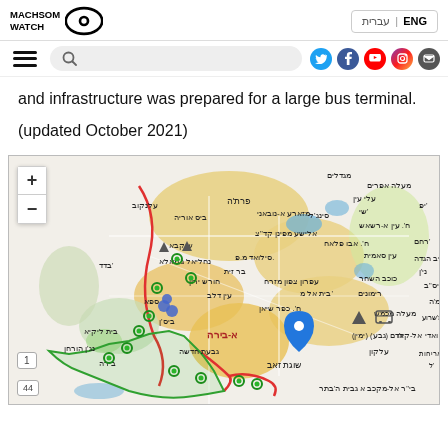MACHSOM WATCH | ENG עברית
and infrastructure was prepared for a large bus terminal.
(updated October 2021)
[Figure (map): Interactive map showing the West Bank region with Hebrew place names, zoom controls (+/-), colored zones (yellow, orange, blue), green circle markers, a blue location pin, red boundary lines, and a green boundary outline.]